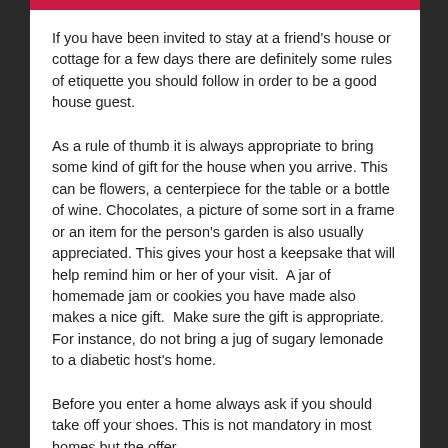If you have been invited to stay at a friend's house or cottage for a few days there are definitely some rules of etiquette you should follow in order to be a good house guest.
As a rule of thumb it is always appropriate to bring some kind of gift for the house when you arrive. This can be flowers, a centerpiece for the table or a bottle of wine. Chocolates, a picture of some sort in a frame or an item for the person's garden is also usually appreciated. This gives your host a keepsake that will help remind him or her of your visit.  A jar of homemade jam or cookies you have made also makes a nice gift.  Make sure the gift is appropriate.  For instance, do not bring a jug of sugary lemonade to a diabetic host's home.
Before you enter a home always ask if you should take off your shoes. This is not mandatory in most homes but the offer